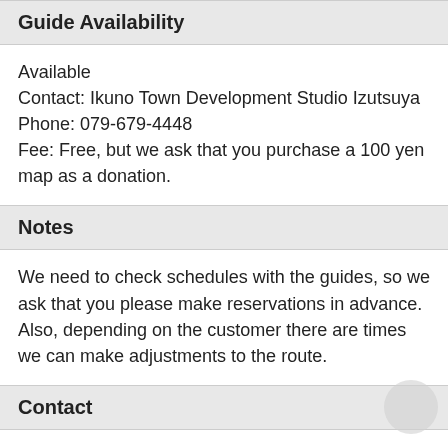Guide Availability
Available
Contact: Ikuno Town Development Studio Izutsuya
Phone: 079-679-4448
Fee: Free, but we ask that you purchase a 100 yen map as a donation.
Notes
We need to check schedules with the guides, so we ask that you please make reservations in advance.
Also, depending on the customer there are times we can make adjustments to the route.
Contact
Contact: Ikuno Town Development Studio